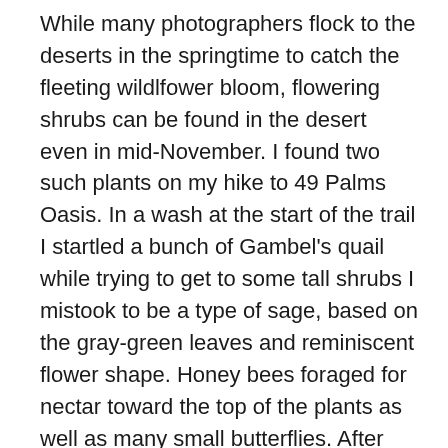While many photographers flock to the deserts in the springtime to catch the fleeting wildlfower bloom, flowering shrubs can be found in the desert even in mid-November. I found two such plants on my hike to 49 Palms Oasis. In a wash at the start of the trail I startled a bunch of Gambel's quail while trying to get to some tall shrubs I mistook to be a type of sage, based on the gray-green leaves and reminiscent flower shape. Honey bees foraged for nectar toward the top of the plants as well as many small butterflies. After some internet searching I determined that it wasn't a sage at all, but Hyptis emoryi, commonly called desert lavender.This shrub is native to the Southwest and belongs to the Mint Family, Lamiaceae. According to the Jepson Horticultural Database, desert lavender can reach up to 3 meters in height, is found in southeastern California as well as Arizona and northwest New Mexico, and has a flowering time of January through May. Why then did I see honey...